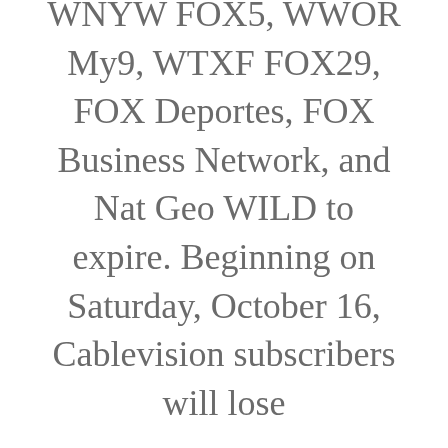WNYW FOX5, WWOR My9, WTXF FOX29, FOX Deportes, FOX Business Network, and Nat Geo WILD to expire. Beginning on Saturday, October 16, Cablevision subscribers will lose